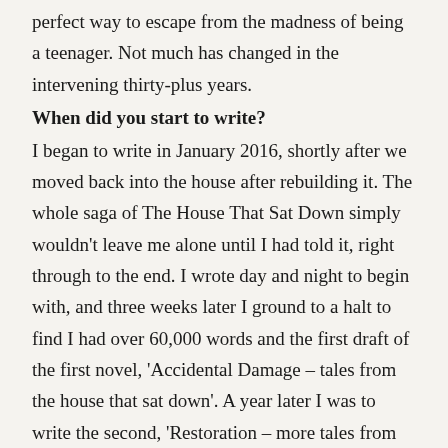perfect way to escape from the madness of being a teenager. Not much has changed in the intervening thirty-plus years.
When did you start to write?
I began to write in January 2016, shortly after we moved back into the house after rebuilding it. The whole saga of The House That Sat Down simply wouldn't leave me alone until I had told it, right through to the end. I wrote day and night to begin with, and three weeks later I ground to a halt to find I had over 60,000 words and the first draft of the first novel, 'Accidental Damage – tales from the house that sat down'. A year later I was to write the second, 'Restoration – more tales from the house that sat down,' and a year after that, I completed the third, 'Redemption – moving on from the house that sat down.' The House That Sat Down Trilogy is now complete and I have